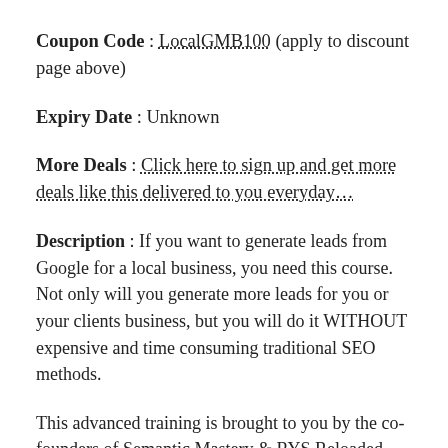Coupon Code : LocalGMB100 (apply to discount page above)
Expiry Date : Unknown
More Deals : Click here to sign up and get more deals like this delivered to you everyday...
Description : If you want to generate leads from Google for a local business, you need this course. Not only will you generate more leads for you or your clients business, but you will do it WITHOUT expensive and time consuming traditional SEO methods.
This advanced training is brought to you by the co-founders of Semantic Mastery & RYS Reloaded